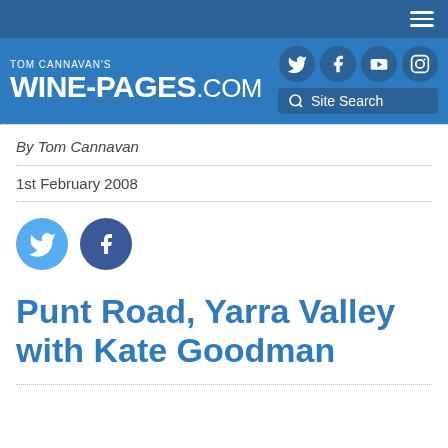TOM CANNAVAN'S WINE-PAGES.COM
By Tom Cannavan
1st February 2008
Punt Road, Yarra Valley with Kate Goodman